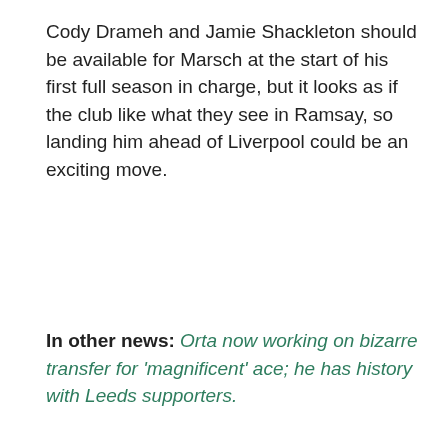Cody Drameh and Jamie Shackleton should be available for Marsch at the start of his first full season in charge, but it looks as if the club like what they see in Ramsay, so landing him ahead of Liverpool could be an exciting move.
In other news: Orta now working on bizarre transfer for 'magnificent' ace; he has history with Leeds supporters.